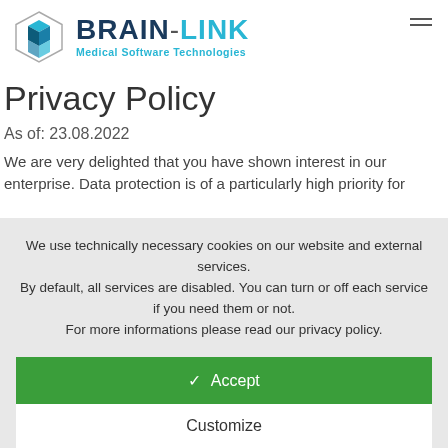[Figure (logo): Brain-Link Medical Software Technologies logo with hexagonal icon and text]
Privacy Policy
As of: 23.08.2022
We are very delighted that you have shown interest in our enterprise. Data protection is of a particularly high priority for
We use technically necessary cookies on our website and external services.
By default, all services are disabled. You can turn or off each service if you need them or not.
For more informations please read our privacy policy.
✓ Accept
Customize